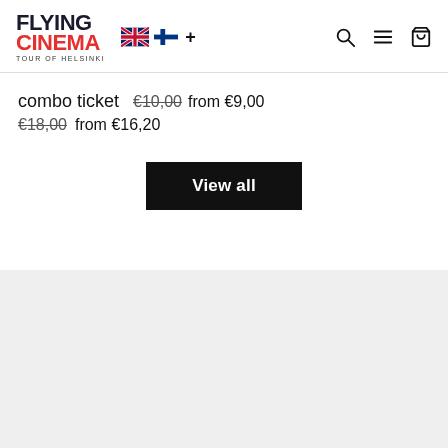[Figure (logo): Flying Cinema Tour of Helsinki logo with UK and Finnish flag icons, and navigation icons (search, menu, cart)]
combo ticket €10,00 from €9,00 €18,00 from €16,20
View all